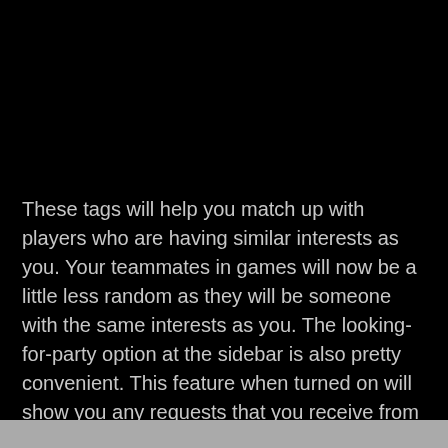These tags will help you match up with players who are having similar interests as you. Your teammates in games will now be a little less random as they will be someone with the same interests as you. The looking-for-party option at the sidebar is also pretty convenient. This feature when turned on will show you any requests that you receive from players with similar tags as you, similarly you will also be able to send requests to players with similar tags. When turned off, you will not get any requests and any request that you sent will be removed automatically. You can check